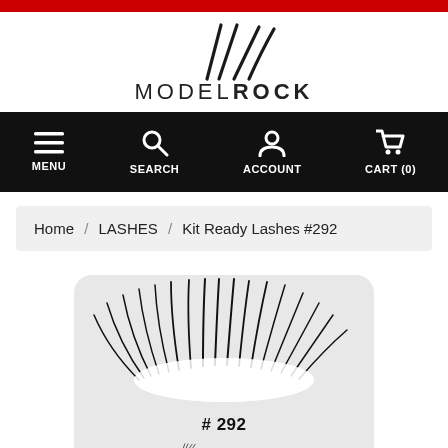[Figure (logo): ModelRock logo with stylized feather/slash marks above the text MODEL ROCK]
[Figure (infographic): Black navigation bar with icons: MENU (hamburger), SEARCH (magnifier), ACCOUNT (person), CART (0) (shopping cart)]
Home / LASHES / Kit Ready Lashes #292
[Figure (photo): Product image of false eyelashes labeled #292 on a rounded grey card with ModelRock logo at the bottom]